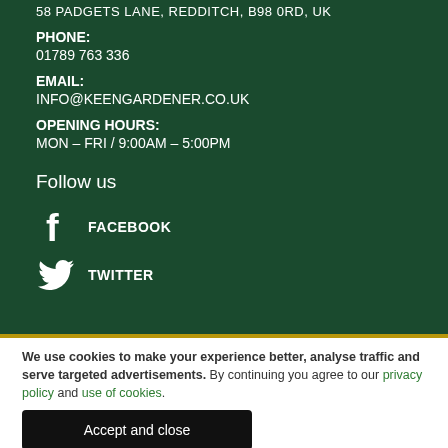58 PADGETS LANE, REDDITCH, B98 0RD, UK
PHONE:
01789 763 336
EMAIL:
INFO@KEENGARDENER.CO.UK
OPENING HOURS:
MON – FRI / 9:00AM – 5:00PM
Follow us
FACEBOOK
TWITTER
We use cookies to make your experience better, analyse traffic and serve targeted advertisements. By continuing you agree to our privacy policy and use of cookies.
Accept and close